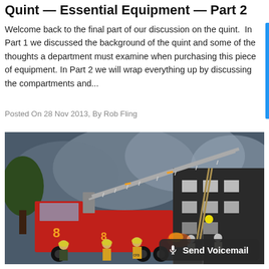Quint — Essential Equipment — Part 2
Welcome back to the final part of our discussion on the quint. In Part 1 we discussed the background of the quint and some of the thoughts a department must examine when purchasing this piece of equipment. In Part 2 we will wrap everything up by discussing the compartments and...
Posted On 28 Nov 2013, By Rob Fling
[Figure (photo): Fire truck with extended aerial ladder at a building fire scene at night, firefighters visible in foreground, smoke filling the sky]